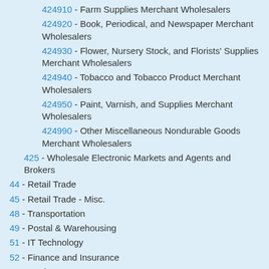424910 - Farm Supplies Merchant Wholesalers
424920 - Book, Periodical, and Newspaper Merchant Wholesalers
424930 - Flower, Nursery Stock, and Florists' Supplies Merchant Wholesalers
424940 - Tobacco and Tobacco Product Merchant Wholesalers
424950 - Paint, Varnish, and Supplies Merchant Wholesalers
424990 - Other Miscellaneous Nondurable Goods Merchant Wholesalers
425 - Wholesale Electronic Markets and Agents and Brokers
44 - Retail Trade
45 - Retail Trade - Misc.
48 - Transportation
49 - Postal & Warehousing
51 - IT Technology
52 - Finance and Insurance
53 - Real Estate
54 - Professional Services
55 - Company Management
56 - Administrative Service
61 - Educational Services